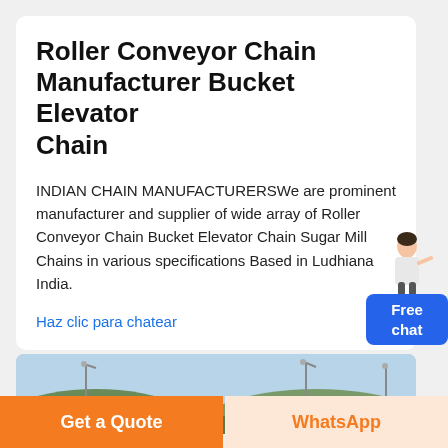Roller Conveyor Chain Manufacturer Bucket Elevator Chain
INDIAN CHAIN MANUFACTURERSWe are prominent manufacturer and supplier of wide array of Roller Conveyor Chain Bucket Elevator Chain Sugar Mill Chains in various specifications Based in Ludhiana India.
Haz clic para chatear
[Figure (photo): Outdoor landscape photo showing hills and light poles against a sky background]
Get a Quote
WhatsApp